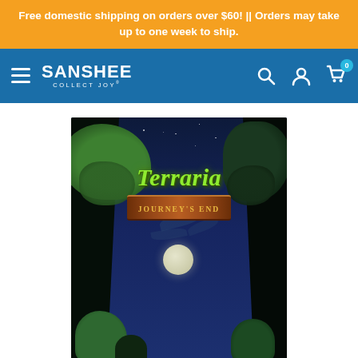Free domestic shipping on orders over $60! || Orders may take up to one week to ship.
[Figure (logo): Sanshee Collect Joy logo with hamburger menu, search, account, and cart icons in blue navigation bar]
[Figure (photo): Terraria Journey's End game art showing a night forest scene with moon, green foliage, dark trees, and the Terraria Journey's End logo]